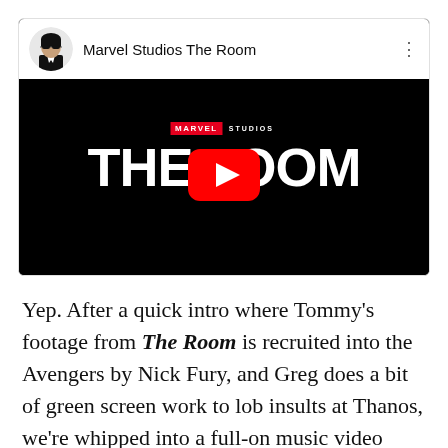[Figure (screenshot): YouTube video card showing 'Marvel Studios The Room' with a black video thumbnail displaying the Marvel Studios logo and 'THE ROOM' text in white with a red YouTube play button overlay. The header shows a circular avatar of a person with sunglasses and long dark hair, the channel name 'Marvel Studios The Room', and a three-dot menu icon.]
Yep. After a quick intro where Tommy's footage from The Room is recruited into the Avengers by Nick Fury, and Greg does a bit of green screen work to lob insults at Thanos, we're whipped into a full-on music video where Avengers are dubbed with autotuned lines from The Room and Tommy flies